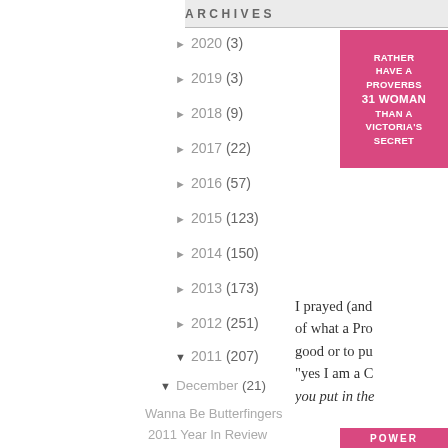ARCHIVES
► 2020 (3)
► 2019 (3)
► 2018 (9)
► 2017 (22)
► 2016 (57)
► 2015 (123)
► 2014 (150)
► 2013 (173)
► 2012 (251)
▼ 2011 (207)
▼ December (21)
Wanna Be Butterfingers
2011 Year In Review
A Christmas Story
[Figure (illustration): Pink square image with text: RATHER HAVE A PROVERBS 31 WOMAN THAN A VICTORIA'S SECRET]
I prayed (and of what a Pro good or to pu "yes I am a C you put in the
[Figure (other): Pink banner at bottom right, partially visible, with white uppercase text]